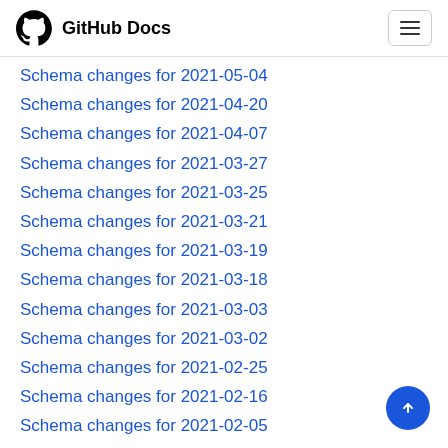GitHub Docs
Schema changes for 2021-05-04
Schema changes for 2021-04-20
Schema changes for 2021-04-07
Schema changes for 2021-03-27
Schema changes for 2021-03-25
Schema changes for 2021-03-21
Schema changes for 2021-03-19
Schema changes for 2021-03-18
Schema changes for 2021-03-03
Schema changes for 2021-03-02
Schema changes for 2021-02-25
Schema changes for 2021-02-16
Schema changes for 2021-02-05
Schema changes for 2021-02-01
Schema changes for 2021-01-19
Schema changes for 2021-01-12
Schema changes for 2020-12-09
Schema changes for 2020-11-13